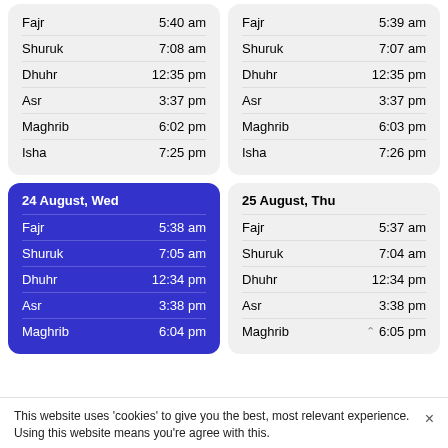| Prayer | Time |
| --- | --- |
| Fajr | 5:40 am |
| Shuruk | 7:08 am |
| Dhuhr | 12:35 pm |
| Asr | 3:37 pm |
| Maghrib | 6:02 pm |
| Isha | 7:25 pm |
| Prayer | Time |
| --- | --- |
| Fajr | 5:39 am |
| Shuruk | 7:07 am |
| Dhuhr | 12:35 pm |
| Asr | 3:37 pm |
| Maghrib | 6:03 pm |
| Isha | 7:26 pm |
| Prayer | Time |
| --- | --- |
| 24 August, Wed |  |
| Fajr | 5:38 am |
| Shuruk | 7:05 am |
| Dhuhr | 12:34 pm |
| Asr | 3:38 pm |
| Maghrib | 6:04 pm |
| Prayer | Time |
| --- | --- |
| 25 August, Thu |  |
| Fajr | 5:37 am |
| Shuruk | 7:04 am |
| Dhuhr | 12:34 pm |
| Asr | 3:38 pm |
| Maghrib | 6:05 pm |
This website uses 'cookies' to give you the best, most relevant experience. Using this website means you're agree with this.